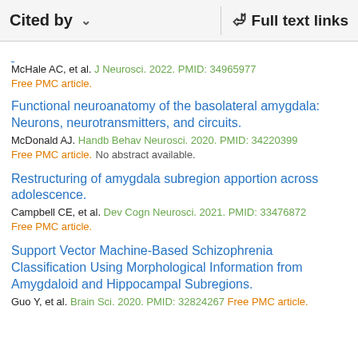Cited by   Full text links
McHale AC, et al. J Neurosci. 2022. PMID: 34965977
Free PMC article.
Functional neuroanatomy of the basolateral amygdala: Neurons, neurotransmitters, and circuits.
McDonald AJ. Handb Behav Neurosci. 2020. PMID: 34220399
Free PMC article. No abstract available.
Restructuring of amygdala subregion apportion across adolescence.
Campbell CE, et al. Dev Cogn Neurosci. 2021. PMID: 33476872
Free PMC article.
Support Vector Machine-Based Schizophrenia Classification Using Morphological Information from Amygdaloid and Hippocampal Subregions.
Guo Y, et al. Brain Sci. 2020. PMID: 32824267 Free PMC article.